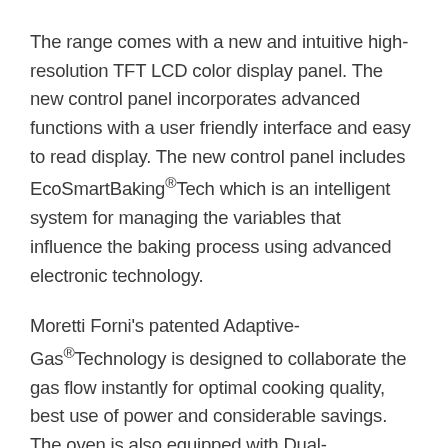The range comes with a new and intuitive high-resolution TFT LCD color display panel. The new control panel incorporates advanced functions with a user friendly interface and easy to read display. The new control panel includes EcoSmartBaking®Tech which is an intelligent system for managing the variables that influence the baking process using advanced electronic technology.
Moretti Forni's patented Adaptive-Gas®Technology is designed to collaborate the gas flow instantly for optimal cooking quality, best use of power and considerable savings. The oven is also equipped with Dual-Temp®Technology which allows the user to separately manage two temperatures inside the same baking chamber.